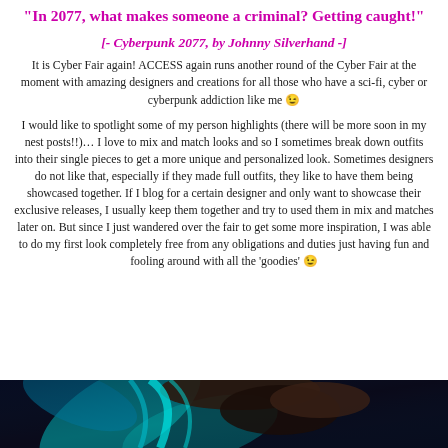“In 2077, what makes someone a criminal? Getting caught!”
[- Cyberpunk 2077, by Johnny Silverhand -]
It is Cyber Fair again! ACCESS again runs another round of the Cyber Fair at the moment with amazing designers and creations for all those who have a sci-fi, cyber or cyberpunk addiction like me 😉
I would like to spotlight some of my person highlights (there will be more soon in my nest posts!!)… I love to mix and match looks and so I sometimes break down outfits into their single pieces to get a more unique and personalized look. Sometimes designers do not like that, especially if they made full outfits, they like to have them being showcased together. If I blog for a certain designer and only want to showcase their exclusive releases, I usually keep them together and try to used them in mix and matches later on. But since I just wandered over the fair to get some more inspiration, I was able to do my first look completely free from any obligations and duties just having fun and fooling around with all the ‘goodies’ 😉
[Figure (photo): Photo of a cyberpunk-styled character with teal/blue hair and braids, colorful swirling background]